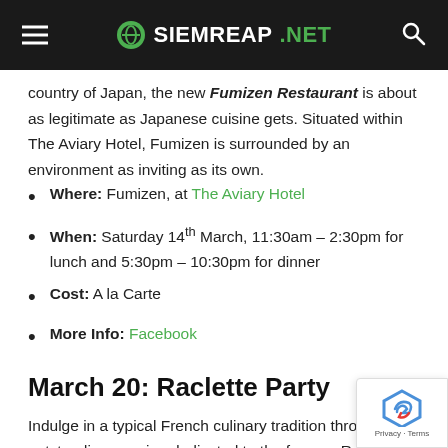SIEMREAP.NET
country of Japan, the new Fumizen Restaurant is about as legitimate as Japanese cuisine gets. Situated within The Aviary Hotel, Fumizen is surrounded by an environment as inviting as its own.
Where: Fumizen, at The Aviary Hotel
When: Saturday 14th March, 11:30am – 2:30pm for lunch and 5:30pm – 10:30pm for dinner
Cost: A la Carte
More Info: Facebook
March 20: Raclette Party
Indulge in a typical French culinary tradition through an outstanding evening dedicated to the famous Raclette... a gourmet journey with raclette cheese from Les Frères